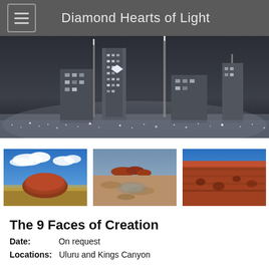Diamond Hearts of Light
[Figure (photo): Black and white nighttime cityscape with illuminated skyscrapers and city lights stretching to the horizon]
[Figure (photo): Three thumbnail photos: (1) Uluru/Ayers Rock monolith in red desert landscape under blue sky with clouds, (2) aerial view of arid outback landscape with rock formations (Kings Canyon area), (3) close-up of red sandstone canyon cliff face under blue sky]
The 9 Faces of Creation
Date:      On request
Locations:   Uluru and Kings Canyon